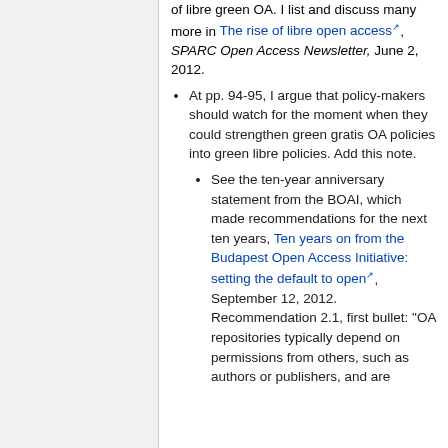of libre green OA. I list and discuss many more in The rise of libre open access, SPARC Open Access Newsletter, June 2, 2012.
At pp. 94-95, I argue that policy-makers should watch for the moment when they could strengthen green gratis OA policies into green libre policies. Add this note.
See the ten-year anniversary statement from the BOAI, which made recommendations for the next ten years, Ten years on from the Budapest Open Access Initiative: setting the default to open, September 12, 2012. Recommendation 2.1, first bullet: "OA repositories typically depend on permissions from others, such as authors or publishers, and are